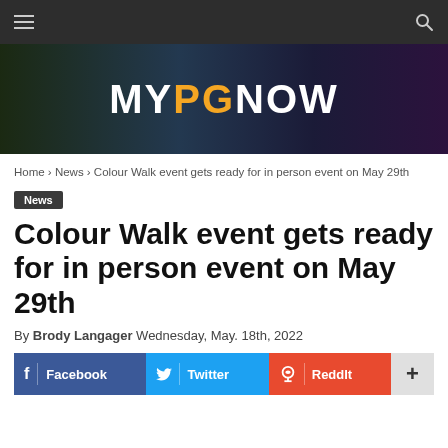MYPGNOW
Home › News › Colour Walk event gets ready for in person event on May 29th
News
Colour Walk event gets ready for in person event on May 29th
By Brody Langager Wednesday, May. 18th, 2022